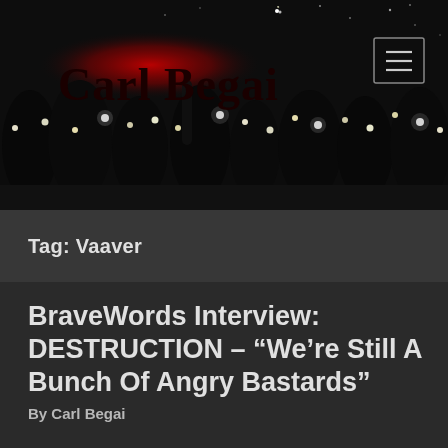Carl Begai
Tag: Vaaver
BraveWords Interview: DESTRUCTION – “We’re Still A Bunch Of Angry Bastards”
By Carl Begai